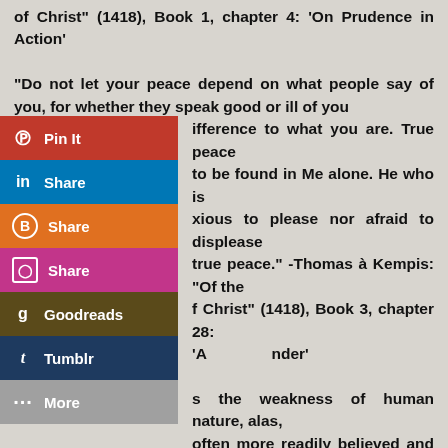of Christ" (1418), Book 1, chapter 4: ‘On Prudence in Action’
“Do not let your peace depend on what people say of you, for whether they speak good or ill of you [makes no] difference to what you are. True peace [is not] to be found in Me alone. He who is neither anxious to please nor afraid to displease [will have] true peace.” -Thomas à Kempis: “Of the [Imitation o]f Christ” (1418), Book 3, chapter 28: ‘[Against Sl]ander’
[Such i]s the weakness of human nature, alas, [that evil is] often more readily believed and spoken of another than good. But perfect men do not easily believe every tale that is told them, for they know that man’s nature is prone to evil, and his